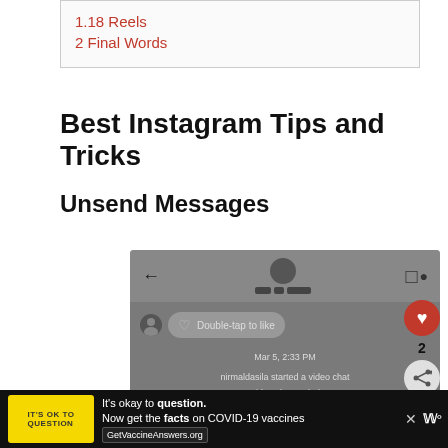1.18 Reels
2 Final Words
Best Instagram Tips and Tricks
Unsend Messages
[Figure (screenshot): Instagram Direct Messages interface screenshot showing a conversation with back arrow, user avatar, video icon, a message bubble with heart icon saying 'Double-tap to like', timestamp 'Mar 5, 2:33 PM', system messages 'nirmaldasila started a video chat' and 'Video chat ended', and partial timestamp 'Sat 12:14 AM']
It's okay to question. Now get the facts on COVID-19 vaccines GetVaccineAnswers.org